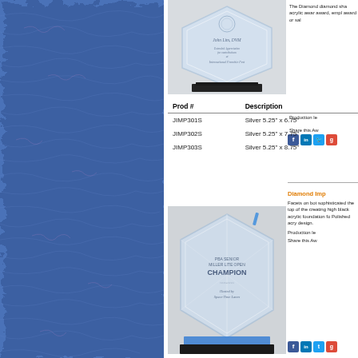[Figure (photo): Blue textured background panel on the left side of the page]
[Figure (photo): Clear acrylic diamond-shaped award on black base, engraved with 'John Lim, DVM' and text about International Frenchie Fest]
The Diamond diamond sha acrylic awar award, empl award or sal
Production le
Share this Aw
| Prod # | Description |
| --- | --- |
| JIMP301S | Silver 5.25" x 6.75" |
| JIMP302S | Silver 5.25" x 7.75" |
| JIMP303S | Silver 5.25" x 8.75" |
[Figure (photo): Clear acrylic diamond-shaped award on blue and black base, engraved with 'PBA Senior Miller Lite Open Champion' text and 'Space Time Lanes']
Diamond Imp
Facets on bot sophisticated the top of the creating high black acrylic foundation fo Polished acry design.
Production le
Share this Aw